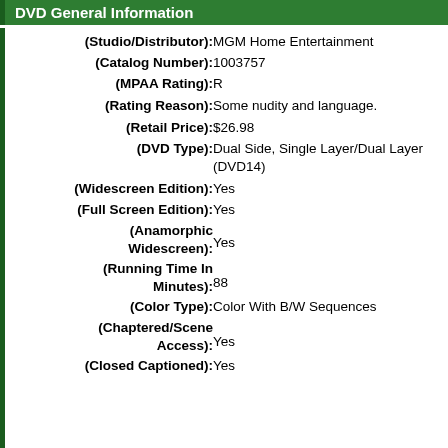DVD General Information
| Field | Value |
| --- | --- |
| (Studio/Distributor): | MGM Home Entertainment |
| (Catalog Number): | 1003757 |
| (MPAA Rating): | R |
| (Rating Reason): | Some nudity and language. |
| (Retail Price): | $26.98 |
| (DVD Type): | Dual Side, Single Layer/Dual Layer (DVD14) |
| (Widescreen Edition): | Yes |
| (Full Screen Edition): | Yes |
| (Anamorphic Widescreen): | Yes |
| (Running Time In Minutes): | 88 |
| (Color Type): | Color With B/W Sequences |
| (Chaptered/Scene Access): | Yes |
| (Closed Captioned): | Yes |